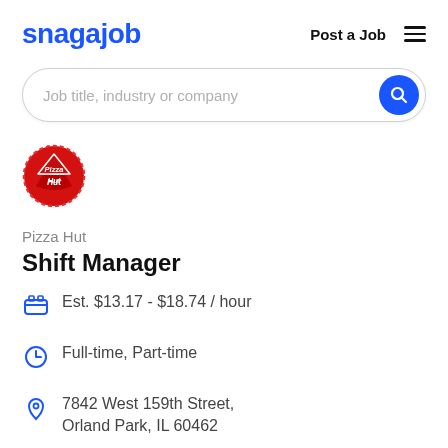snagajob   Post a Job
[Figure (screenshot): Search bar with placeholder text 'Job title, industry or company' and blue circular search button]
[Figure (logo): Pizza Hut circular red logo with pizza slice icon and 'Pizza Hut' text in white]
Pizza Hut
Shift Manager
Est. $13.17 - $18.74 / hour
Full-time, Part-time
7842 West 159th Street, Orland Park, IL 60462